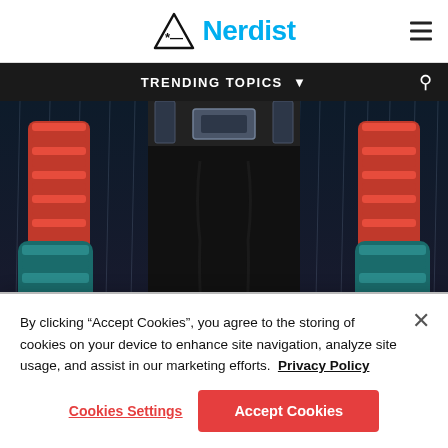Nerdist
TRENDING TOPICS
[Figure (illustration): Comic book style illustration of a character's torso and arms with orange-wrapped forearms, teal/cyan armored gloves, dark tactical pants and belt with buckle, chains visible on the left side, and stylized rain streaks in background.]
By clicking “Accept Cookies”, you agree to the storing of cookies on your device to enhance site navigation, analyze site usage, and assist in our marketing efforts.  Privacy Policy
Cookies Settings
Accept Cookies